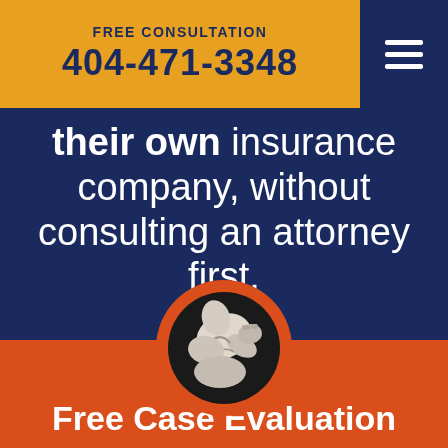FREE CONSULTATION
404-471-3348
their own insurance company, without consulting an attorney first.
[Figure (illustration): Circular logo with orange ring border containing a flexing muscular arm on dark navy background]
Free Case Evaluation